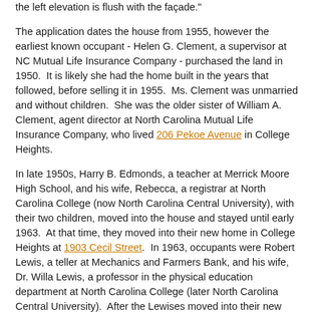the left elevation is flush with the façade."
The application dates the house from 1955, however the earliest known occupant - Helen G. Clement, a supervisor at NC Mutual Life Insurance Company - purchased the land in 1950.  It is likely she had the home built in the years that followed, before selling it in 1955.  Ms. Clement was unmarried and without children.  She was the older sister of William A. Clement, agent director at North Carolina Mutual Life Insurance Company, who lived 206 Pekoe Avenue in College Heights.
In late 1950s, Harry B. Edmonds, a teacher at Merrick Moore High School, and his wife, Rebecca, a registrar at North Carolina College (now North Carolina Central University), with their two children, moved into the house and stayed until early 1963.  At that time, they moved into their new home in College Heights at 1903 Cecil Street.  In 1963, occupants were Robert Lewis, a teller at Mechanics and Farmers Bank, and his wife, Dr. Willa Lewis, a professor in the physical education department at North Carolina College (later North Carolina Central University).  After the Lewises moved into their new home in Emorywood Estates in 1968, Willie Banks, a teller at Mechanics and Farmers Bank, and his wife Shelly, and her...